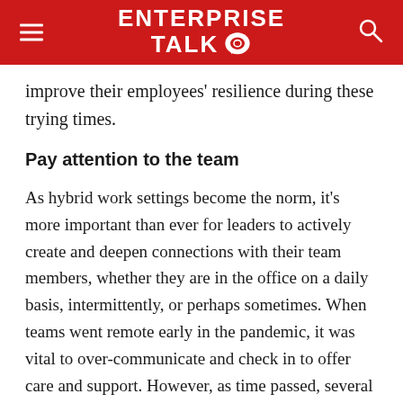ENTERPRISE TALK
improve their employees' resilience during these trying times.
Pay attention to the team
As hybrid work settings become the norm, it's more important than ever for leaders to actively create and deepen connections with their team members, whether they are in the office on a daily basis, intermittently, or perhaps sometimes. When teams went remote early in the pandemic, it was vital to over-communicate and check in to offer care and support. However, as time passed, several teams abandoned this practice. While new tools have made virtual and asynchronous work simpler for scattered teams,